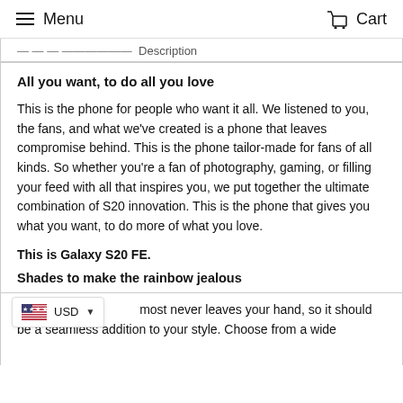Menu  Cart
Description
All you want, to do all you love
This is the phone for people who want it all. We listened to you, the fans, and what we've created is a phone that leaves compromise behind. This is the phone tailor-made for fans of all kinds. So whether you're a fan of photography, gaming, or filling your feed with all that inspires you, we put together the ultimate combination of S20 innovation. This is the phone that gives you what you want, to do more of what you love.
This is Galaxy S20 FE.
Shades to make the rainbow jealous
most never leaves your hand, so it should be a seamless addition to your style. Choose from a wide